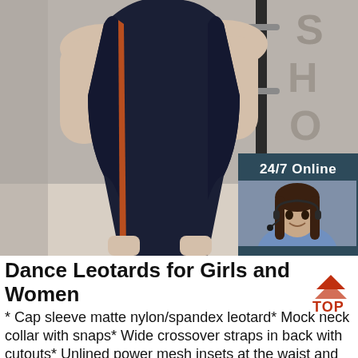[Figure (photo): Product photo of a dark navy blue cap sleeve leotard/dress displayed on a mannequin in a store setting, with clothing racks in background]
[Figure (infographic): 24/7 Online chat widget with photo of smiling woman with headset, 'Click here for free chat!' text, and orange QUOTATION button]
Dance Leotards for Girls and Women
* Cap sleeve matte nylon/spandex leotard* Mock neck collar with snaps* Wide crossover straps in back with cutouts* Unlined power mesh insets at the waist and